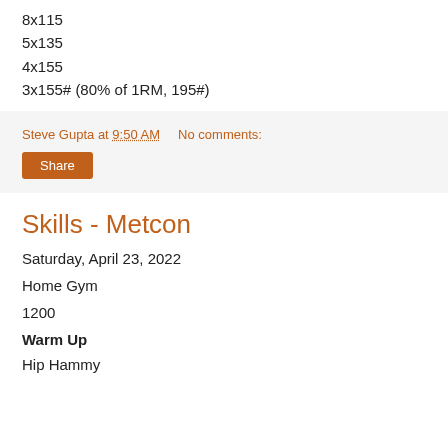8x95
8x115
5x135
4x155
3x155# (80% of 1RM, 195#)
Steve Gupta at 9:50 AM   No comments:
Share
Skills - Metcon
Saturday, April 23, 2022
Home Gym
1200
Warm Up
Hip Hammy